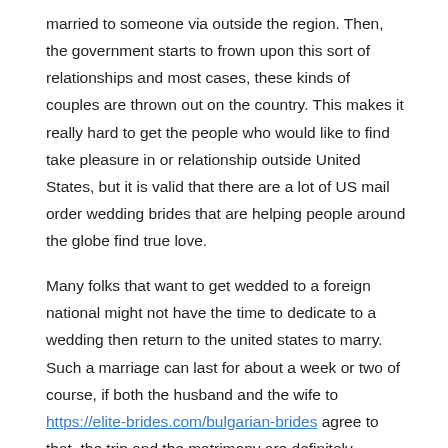married to someone via outside the region. Then, the government starts to frown upon this sort of relationships and most cases, these kinds of couples are thrown out on the country. This makes it really hard to get the people who would like to find take pleasure in or relationship outside United States, but it is valid that there are a lot of US mail order wedding brides that are helping people around the globe find true love.
Many folks that want to get wedded to a foreign national might not have the time to dedicate to a wedding then return to the united states to marry. Such a marriage can last for about a week or two of course, if both the husband and the wife to https://elite-brides.com/bulgarian-brides agree to that, the trip and the matrimony are definitely feasible. In this case, the mail purchase spouse outlawed? The answer to this question depends upon how you look at it.
Lots of the mail order brides which might be working in some